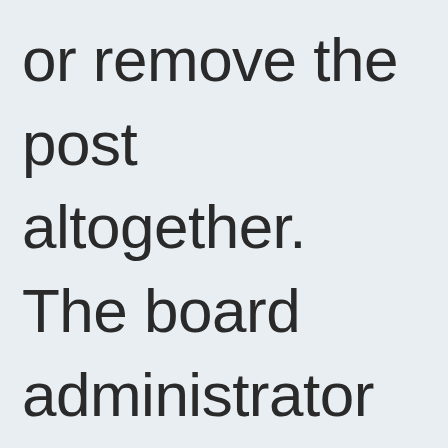or remove the post altogether. The board administrator may also have set a limit to the